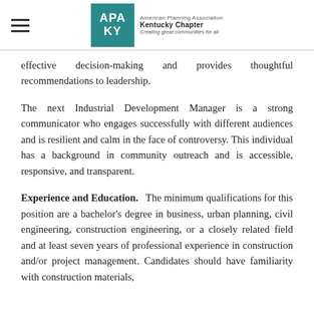American Planning Association Kentucky Chapter — Creating great communities for all
effective decision-making and provides thoughtful recommendations to leadership.
The next Industrial Development Manager is a strong communicator who engages successfully with different audiences and is resilient and calm in the face of controversy. This individual has a background in community outreach and is accessible, responsive, and transparent.
Experience and Education. The minimum qualifications for this position are a bachelor's degree in business, urban planning, civil engineering, construction engineering, or a closely related field and at least seven years of professional experience in construction and/or project management. Candidates should have familiarity with construction materials,